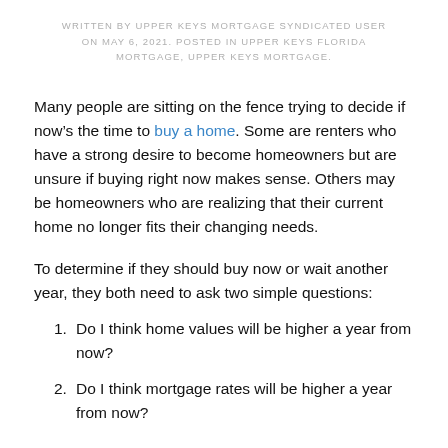WRITTEN BY UPPER KEYS MORTGAGE SYNDICATED USER ON MAY 6, 2021. POSTED IN UPPER KEYS FLORIDA MORTGAGE, UPPER KEYS MORTGAGE.
Many people are sitting on the fence trying to decide if now’s the time to buy a home. Some are renters who have a strong desire to become homeowners but are unsure if buying right now makes sense. Others may be homeowners who are realizing that their current home no longer fits their changing needs.
To determine if they should buy now or wait another year, they both need to ask two simple questions:
Do I think home values will be higher a year from now?
Do I think mortgage rates will be higher a year from now?